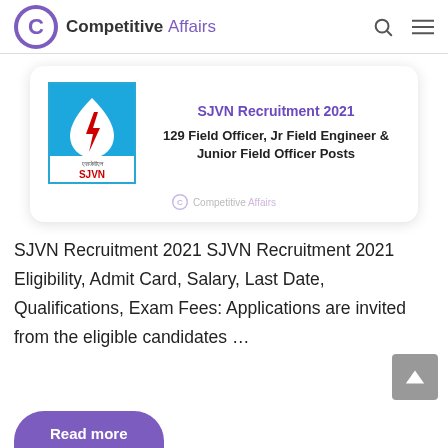Competitive Affairs
[Figure (logo): SJVN Recruitment 2021 promotional card with SJVN logo showing blue background with water drop and lightning bolt, Hindi text एसजेवीएन and SJVN, card title 'SJVN Recruitment 2021' and subtitle '129 Field Officer, Jr Field Engineer & Junior Field Officer Posts' with Competitive Affairs watermark]
SJVN Recruitment 2021 SJVN Recruitment 2021 Eligibility, Admit Card, Salary, Last Date, Qualifications, Exam Fees: Applications are invited from the eligible candidates …